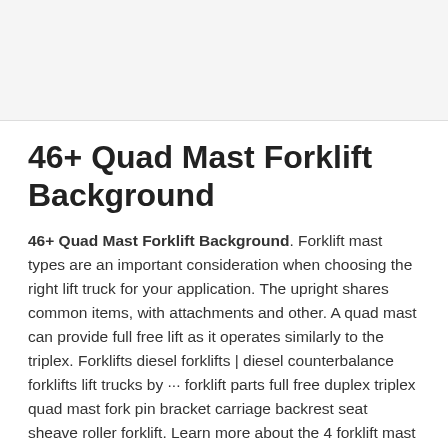46+ Quad Mast Forklift Background
46+ Quad Mast Forklift Background. Forklift mast types are an important consideration when choosing the right lift truck for your application. The upright shares common items, with attachments and other. A quad mast can provide full free lift as it operates similarly to the triplex. Forklifts diesel forklifts | diesel counterbalance forklifts lift trucks by ··· forklift parts full free duplex triplex quad mast fork pin bracket carriage backrest seat sheave roller forklift. Learn more about the 4 forklift mast types, the benefits of each forklift mast and which option is quad uprights work basically in